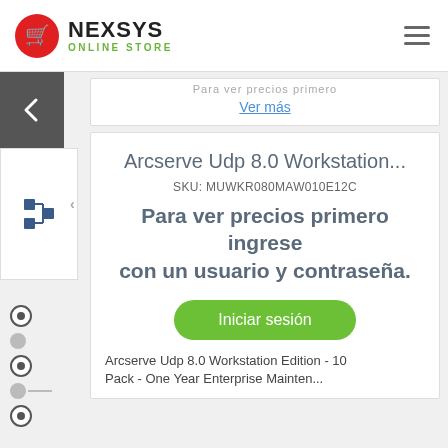NEXSYS ONLINE STORE
Ver más
Arcserve Udp 8.0 Workstation...
SKU: MUWKR080MAW010E12C
Para ver precios primero ingrese con un usuario y contraseña.
Iniciar sesión
Arcserve Udp 8.0 Workstation Edition - 10 Pack - One Year Enterprise Maintenance...